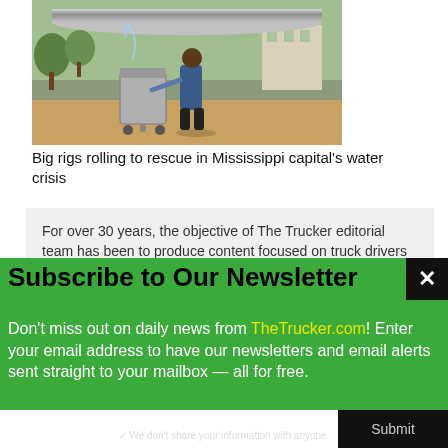[Figure (photo): A person pulling a large gray trash can on wheels, with water flowing from a large horizontal pipe. Truck and building visible in background. Outdoor setting on pavement.]
Big rigs rolling to rescue in Mississippi capital's water crisis
For over 30 years, the objective of The Trucker editorial team has been to produce content focused on truck drivers that is
Subscribe to Our Newsletter
Don't miss out on daily news from TheTrucker.com! Enter your email address to have our newsletters and email alerts sent straight to your mailbox — all for free.
✓ We don't share your information with anyone.